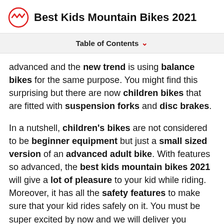Best Kids Mountain Bikes 2021
Table of Contents
advanced and the new trend is using balance bikes for the same purpose. You might find this surprising but there are now children bikes that are fitted with suspension forks and disc brakes.
In a nutshell, children's bikes are not considered to be beginner equipment but just a small sized version of an advanced adult bike. With features so advanced, the best kids mountain bikes 2021 will give a lot of pleasure to your kid while riding. Moreover, it has all the safety features to make sure that your kid rides safely on it. You must be super excited by now and we will deliver you enough details to make sure that you stay happy.